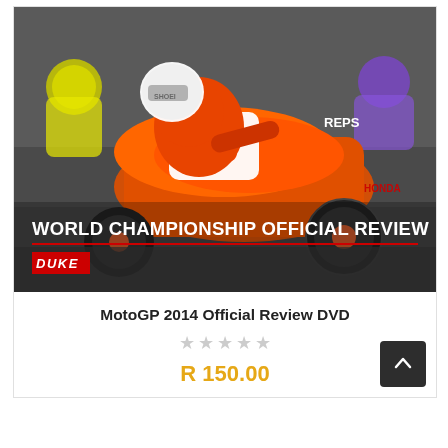[Figure (photo): MotoGP race photo showing motorcycle racer #93 in Repsol Honda livery leaning into a corner, with other riders visible in the background. White text overlay reads 'WORLD CHAMPIONSHIP OFFICIAL REVIEW' with a red horizontal line and DUKE logo beneath.]
MotoGP 2014 Official Review DVD
★★★★★ (empty stars rating)
R 150.00